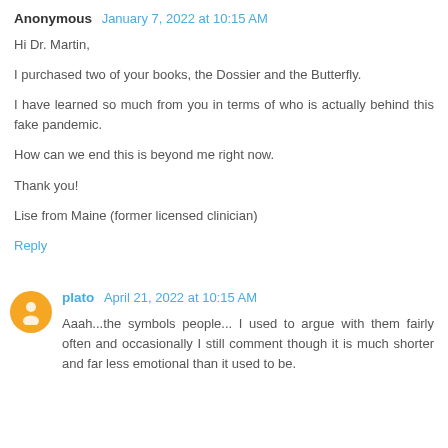Anonymous  January 7, 2022 at 10:15 AM
Hi Dr. Martin,
I purchased two of your books, the Dossier and the Butterfly.
I have learned so much from you in terms of who is actually behind this fake pandemic.
How can we end this is beyond me right now.
Thank you!
Lise from Maine (former licensed clinician)
Reply
plato  April 21, 2022 at 10:15 AM
Aaah...the symbols people... I used to argue with them fairly often and occasionally I still comment though it is much shorter and far less emotional than it used to be.